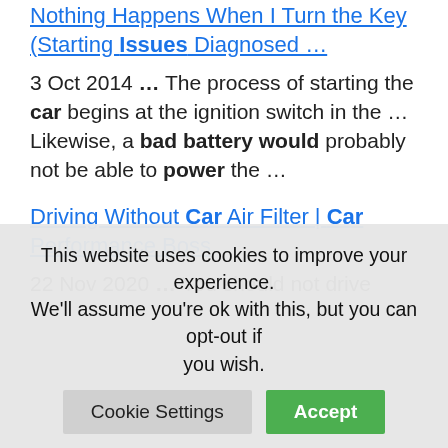Nothing Happens When I Turn the Key (Starting Issues Diagnosed ...
3 Oct 2014 … The process of starting the car begins at the ignition switch in the … Likewise, a bad battery would probably not be able to power the …
Driving Without Car Air Filter | Car Performance Boss
22 Nov 2020 … You should not drive without an air filter. Driving without …
This website uses cookies to improve your experience. We'll assume you're ok with this, but you can opt-out if you wish.